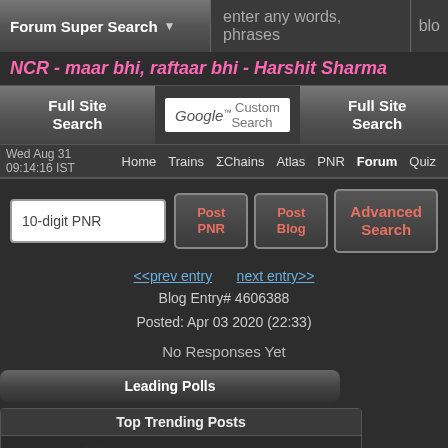Forum Super Search | enter any words, phrases | blo
NCR - maar bhi, raftaar bhi - Harshit Sharma
Full Site Search | Google Custom Search | Full Site Search
Wed Aug 31 09:14:16 IST | Home | Trains | ΣChains | Atlas | PNR | Forum | Quiz
10-digit PNR | Post PNR | Post Blog | Advanced Search
<<prev entry   next entry>>
Blog Entry# 4606388
Posted: Apr 03 2020 (22:33)
No Responses Yet
Leading Polls
| ID | Stars | Count | User |
| --- | --- | --- | --- |
| 5462987 | ★★ | 14 | ayush |
| 5464216 | ★★ | 15 | Rohit |
| 5459659 | ★★ | 13 | AVI_R |
| 5462428 | ★★★ | 24 | Megh |
| 5463334 | ★★ | 19 | Soma |
| 5464072 | ★★ | 15 | Rohit |